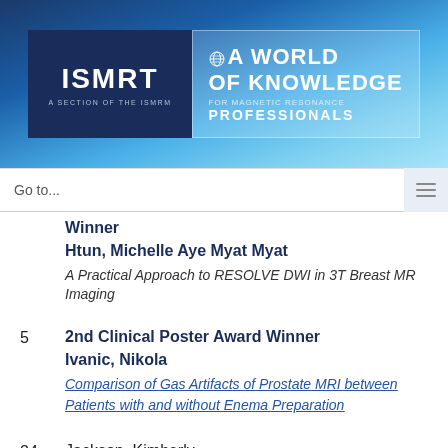[Figure (logo): ISMRT logo with 'A World of Knowledge for Magnetic Resonance Professionals' tagline on blue gradient banner background]
Go to...
Winner
Htun, Michelle Aye Myat Myat
A Practical Approach to RESOLVE DWI in 3T Breast MR Imaging
5   2nd Clinical Poster Award Winner
Ivanic, Nikola
Comparison of Gas Artifacts of Prostate MRI between Patients with and without Enema Preparation
24   Jackson, Kimberly